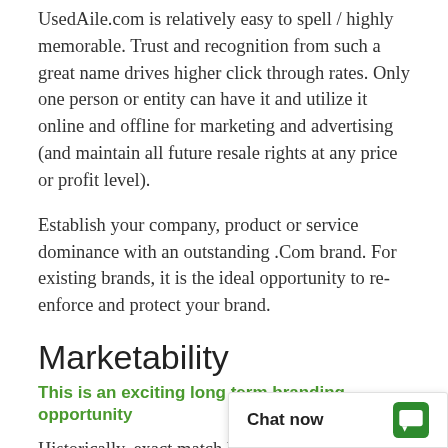UsedAile.com is relatively easy to spell / highly memorable. Trust and recognition from such a great name drives higher click through rates. Only one person or entity can have it and utilize it online and offline for marketing and advertising (and maintain all future resale rights at any price or profit level).
Establish your company, product or service dominance with an outstanding .Com brand. For existing brands, it is the ideal opportunity to re-enforce and protect your brand.
Marketability
This is an exciting long term branding opportunity
Historically, exact match keywords have been rated higher in relevancy for search engine ranking. A super-premium .Com domain from DomainMarket.com
Chat now